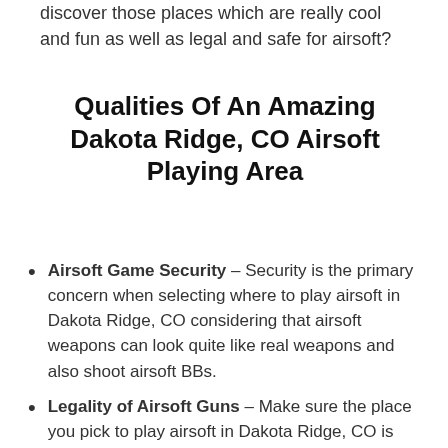discover those places which are really cool and fun as well as legal and safe for airsoft?
Qualities Of An Amazing Dakota Ridge, CO Airsoft Playing Area
Airsoft Game Security – Security is the primary concern when selecting where to play airsoft in Dakota Ridge, CO considering that airsoft weapons can look quite like real weapons and also shoot airsoft BBs.
Legality of Airsoft Guns – Make sure the place you pick to play airsoft in Dakota Ridge, CO is legal by examining local laws or asking